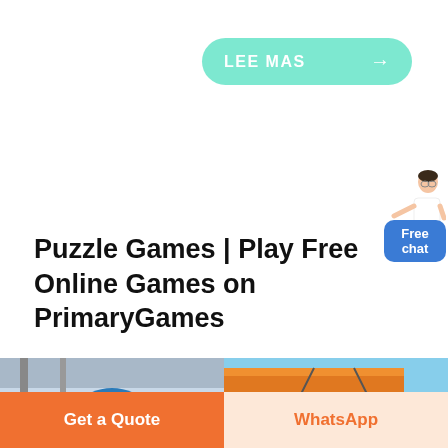[Figure (other): Green rounded button with text LEE MAS and right arrow]
[Figure (illustration): Small cartoon avatar of a woman in white shirt standing and gesturing]
[Figure (other): Blue rounded square badge with text Free chat]
Puzzle Games | Play Free Online Games on PrimaryGames
[Figure (photo): Two industrial equipment photos side by side: left shows a blue vertical shaft impact crusher in a factory; right shows orange crane/conveyor belt machinery]
[Figure (other): Bottom bar with two buttons: orange Get a Quote button on left, light orange WhatsApp button on right]